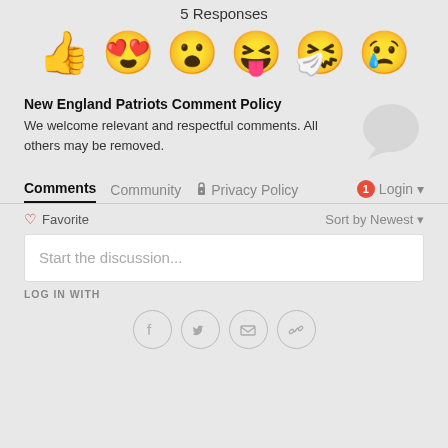5 Responses
[Figure (illustration): Row of six emoji: thumbs up, heart eyes face, surprised face, goofy face with tongue out, crying/sneezing face, sad face with tear]
New England Patriots Comment Policy
We welcome relevant and respectful comments. All others may be removed.
[Figure (illustration): Gray speech bubble / chat icon]
Comments  Community  🔒 Privacy Policy  1 Login ▾
♡ Favorite
Sort by Newest ▾
Start the discussion...
LOG IN WITH
[Figure (illustration): Social login icons: Facebook, Twitter, Email, Link]